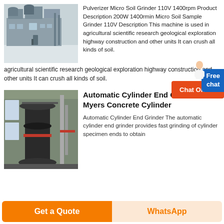[Figure (photo): Industrial pulverizer/soil grinder facility building, aerial/ground view of large grey industrial plant structure outdoors in winter/snowy conditions]
Pulverizer Micro Soil Grinder 110V 1400rpm Product Description 200W 1400rmin Micro Soil Sample Grinder 110V Description This machine is used in agricultural scientific research geological exploration highway construction and other units It can crush all kinds of soil.
[Figure (illustration): Free chat button with person icon]
[Figure (illustration): Chat Online orange button]
agricultural scientific research geological exploration highway construction and other units It can crush all kinds of soil.
[Figure (photo): Large automatic cylinder end grinder machine inside an industrial warehouse/factory building. Heavy black cylindrical grinding equipment visible.]
Automatic Cylinder End Grinder Myers Concrete Cylinder
Automatic Cylinder End Grinder The automatic cylinder end grinder provides fast grinding of cylinder specimen ends to obtain
Get a Quote
WhatsApp